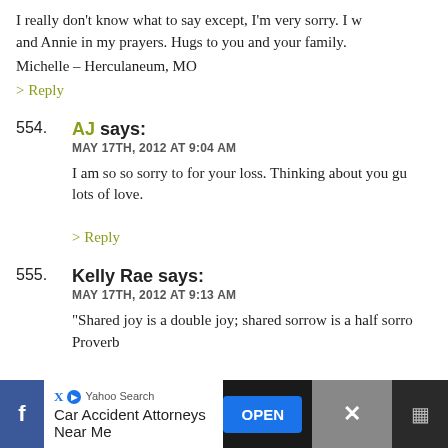I really don't know what to say except, I'm very sorry. I w... and Annie in my prayers. Hugs to you and your family.
Michelle – Herculaneum, MO
> Reply
554. AJ says: MAY 17TH, 2012 AT 9:04 AM
I am so so sorry to for your loss. Thinking about you gu... lots of love.
> Reply
555. Kelly Rae says: MAY 17TH, 2012 AT 9:13 AM
"Shared joy is a double joy; shared sorrow is a half sorro... Proverb
Please know that I am sharing in your sorrow. I'm so ve... loss.
Yahoo Search Car Accident Attorneys Near Me OPEN